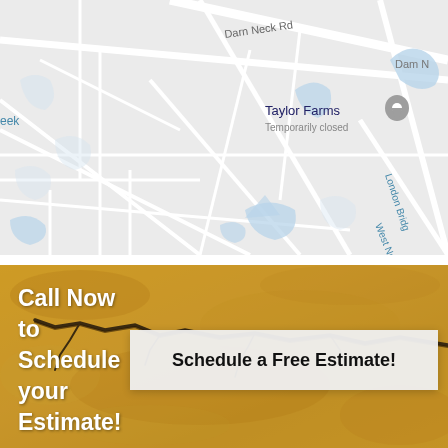[Figure (map): Google Maps screenshot showing Taylor Farms (Temporarily closed) location near Darn Neck Rd and London Bridge Rd, Dam Neck area. Streets shown in white on light gray background with blue water features.]
[Figure (photo): Golden/yellow cracked concrete or asphalt surface texture with dark crack running diagonally across the image. White text overlay reads 'Call Now to Schedule your Estimate!' and a white button/box reads 'Schedule a Free Estimate!']
Call Now to Schedule your Estimate!
Schedule a Free Estimate!